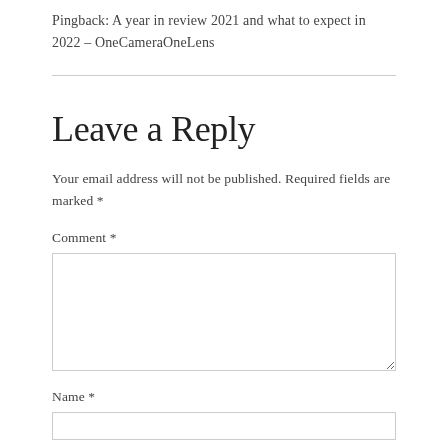Pingback: A year in review 2021 and what to expect in 2022 – OneCameraOneLens
Leave a Reply
Your email address will not be published. Required fields are marked *
Comment *
Name *